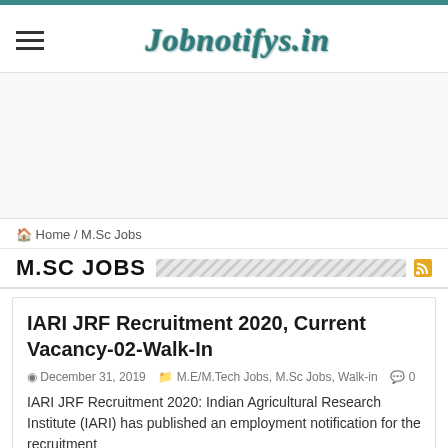[Figure (logo): Jobnotifys.in website logo in teal italic serif font with hamburger menu icon on left]
[Figure (other): Advertisement banner area (blank/white space)]
🏠 Home / M.Sc Jobs
M.SC JOBS
IARI JRF Recruitment 2020, Current Vacancy-02-Walk-In
December 31, 2019   M.E/M.Tech Jobs, M.Sc Jobs, Walk-in   0
IARI JRF Recruitment 2020: Indian Agricultural Research Institute (IARI) has published an employment notification for the recruitment